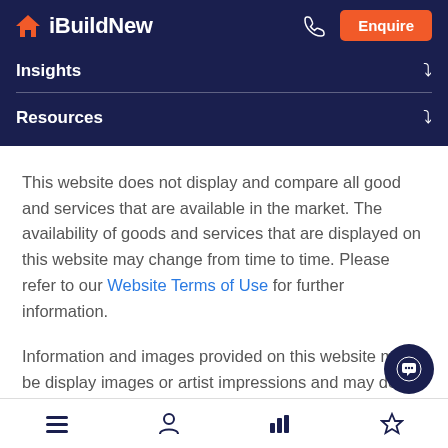[Figure (logo): iBuildNew logo with orange house icon and white text on dark navy background]
Insights
Resources
This website does not display and compare all good and services that are available in the market. The availability of goods and services that are displayed on this website may change from time to time. Please refer to our Website Terms of Use for further information.
Information and images provided on this website may be display images or artist impressions and may depict or relate to optional upgrades, home or estate fixtures, features, finishes and/or furniture which are unavailable or which are available for additional c... n the